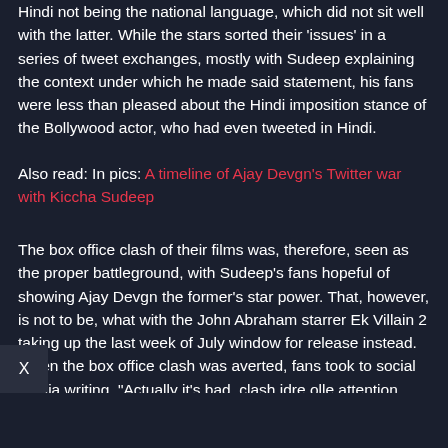Hindi not being the national language, which did not sit well with the latter. While the stars sorted their 'issues' in a series of tweet exchanges, mostly with Sudeep explaining the context under which he made said statement, his fans were less than pleased about the Hindi imposition stance of the Bollywood actor, who had even tweeted in Hindi.
Also read: In pics: A timeline of Ajay Devgn's Twitter war with Kiccha Sudeep
The box office clash of their films was, therefore, seen as the proper battleground, with Sudeep's fans hopeful of showing Ajay Devgn the former's star power. That, however, is not to be, what with the John Abraham starrer Ek Villain 2 taking up the last week of July window for release instead. When the box office clash was averted, fans took to social media writing, "Actually it's bad, clash idre olle attention irodu Given their twitter fight" and "They must have decided to postpone the release after seeing the craze surrounding the Gadang Rakkamma song release. They figured